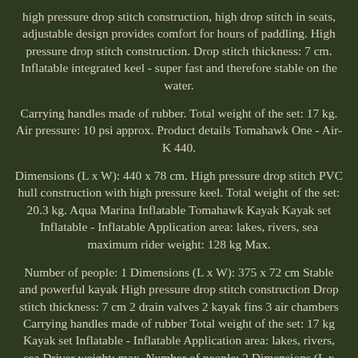high pressure drop stitch construction, high drop stitch in seats, adjustable design provides comfort for hours of paddling. High pressure drop stitch construction. Drop stitch thickness: 7 cm. Inflatable integrated keel - super fast and therefore stable on the water.
Carrying handles made of rubber. Total weight of the set: 17 kg. Air pressure: 10 psi approx. Product details Tomahawk One - Air-K 440.
Dimensions (L x W): 440 x 78 cm. High pressure drop stitch PVC hull construction with high pressure keel. Total weight of the set: 20.3 kg. Aqua Marina Inflatable Tomahawk Kayak Kayak set Inflatable - Inflatable Application area: lakes, rivers, sea maximum rider weight: 128 kg Max.
Number of people: 1 Dimensions (L x W): 375 x 72 cm Stable and powerful kayak High pressure drop stitch construction Drop stitch thickness: 7 cm 2 drain valves 2 kayak fins 3 air chambers Carrying handles made of rubber Total weight of the set: 17 kg Kayak set Inflatable - Inflatable Application area: lakes, rivers, sea Driver weight: max. Number of people: 2 Dimensions (L x W): 440 x 78 cm Stable and powerful kayak Drop stitch thickness: 7 cm 2 drain valves 2